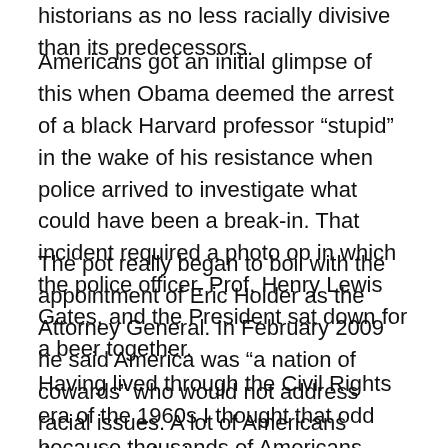historians as no less racially divisive than its predecessors.
Americans got an initial glimpse of this when Obama deemed the arrest of a black Harvard professor “stupid” in the wake of his resistance when police arrived to investigate what could have been a break-in. That incident required a photo op in which the police officer, Prof. Henry Lewis Gates, and the President sat down for a beer together.
The pot really began to boil with the appointment of Eric Holder as the Attorney General. In February 2009 he said America was “a nation of cowards” who would not address racial issues. A lot of Americans thought we had.
Having lived through the Civil Rights era of the 1960s I thought that odd because thousands of Americans, white and black had participated in sit-ins and marches to achieve the 1964 Civil Rights Act. All displayed courage. Some even